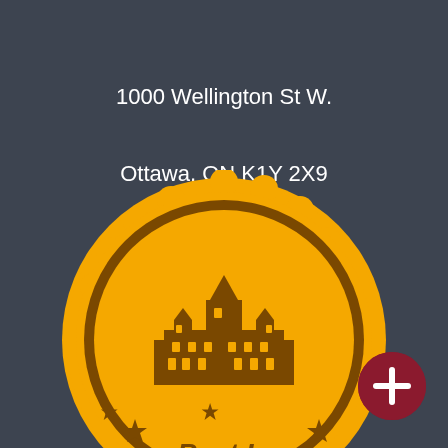1000 Wellington St W.
Ottawa, ON K1Y 2X9

License M20002226
Brokerage #10464
[Figure (logo): Partially visible gold/yellow scalloped badge seal with a building (Parliament Hill / city hall style) illustration in the center and text 'Best In' visible at the bottom, with stars on either side.]
[Figure (other): Dark red circular button with a white plus (+) sign in the bottom right corner.]